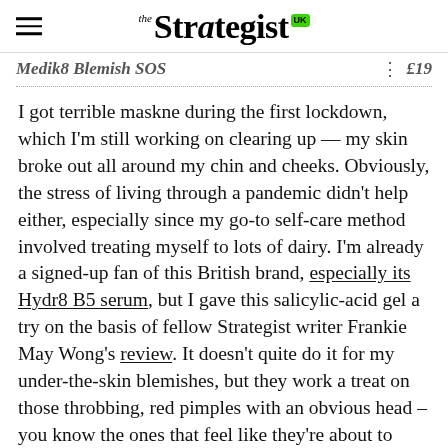the Strategist UK
Medik8 Blemish SOS   £19
I got terrible maskne during the first lockdown, which I'm still working on clearing up — my skin broke out all around my chin and cheeks. Obviously, the stress of living through a pandemic didn't help either, especially since my go-to self-care method involved treating myself to lots of dairy. I'm already a signed-up fan of this British brand, especially its Hydr8 B5 serum, but I gave this salicylic-acid gel a try on the basis of fellow Strategist writer Frankie May Wong's review. It doesn't quite do it for my under-the-skin blemishes, but they work a treat on those throbbing, red pimples with an obvious head – you know the ones that feel like they're about to